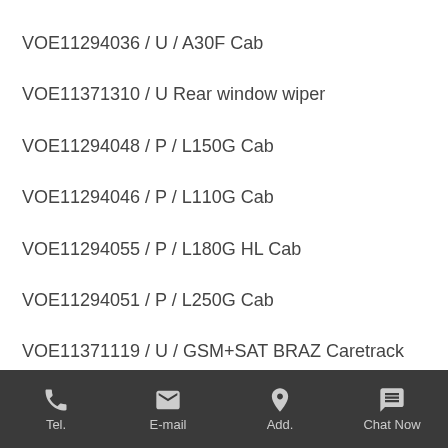VOE11294036 / U / A30F Cab
VOE11371310 / U Rear window wiper
VOE11294048 / P / L150G Cab
VOE11294046 / P / L110G Cab
VOE11294055 / P / L180G HL Cab
VOE11294051 / P / L250G Cab
VOE11371119 / U / GSM+SAT BRAZ Caretrack
Tel.  E-mail  Add.  Chat Now